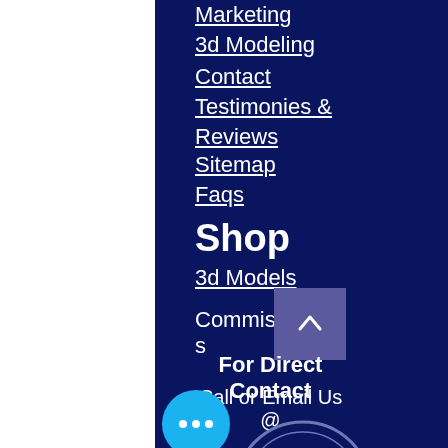Marketing
3d Modeling
Contact
Testimonies & Reviews
Sitemap
Faqs
Shop
3d Models
Commissions
For Direct Contact
Call or Email Us @
[Figure (logo): Circular logo partially visible at bottom, appears to say ART ME with a seal/badge design]